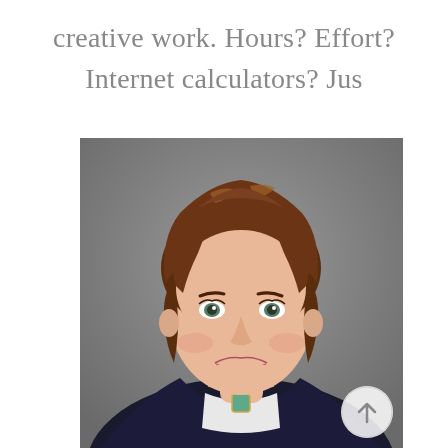creative work. Hours? Effort? Internet calculators? Jus
[Figure (photo): Professional headshot of a woman with short brown hair with highlights, smiling, wearing a dark navy blazer over a light blouse, with a gold necklace featuring a teal pendant. Background is neutral gray.]